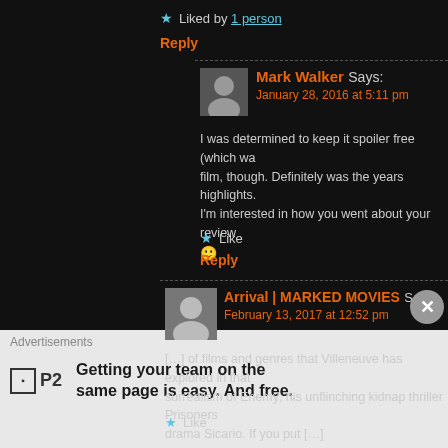★ Liked by 1 person
Reply
Mark Walker Says: January 28, 2016 at 5:11 pm
I was determined to keep it spoiler free (which wa... film, though. Definitely was the years highlights. I'm interested in how you went about your review 🙂
Like
Reply
Arrival | MARKED MOVIES Says: February 13, 2017 at 12:52 pm
[…] of films and genres that Villeneuve has explored in that surrealism of Enemy; his unflinching kidnap thriller Prisoners drama Sicario. If you put […]
Like
Advertisements
Getting your team on the same page is easy. And free.